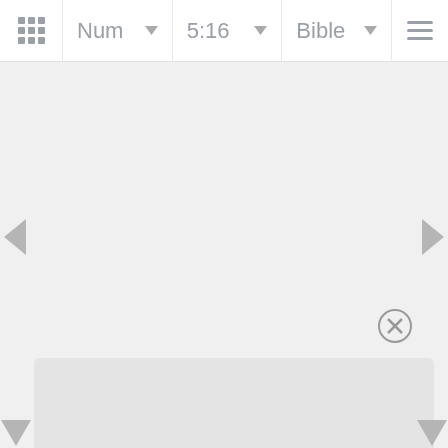[Figure (screenshot): Bible app navigation bar showing grid/menu icon, book selector (Num), chapter:verse selector (5:16), and Bible translation selector with hamburger menu]
[Figure (screenshot): Left navigation arrow for previous chapter]
[Figure (screenshot): Right navigation arrow for next chapter]
[Figure (screenshot): Close (X) button circle icon]
[Figure (screenshot): Bottom panel / content area, partially visible]
[Figure (screenshot): Bottom left downward triangle navigation arrow]
[Figure (screenshot): Bottom right downward triangle navigation arrow]